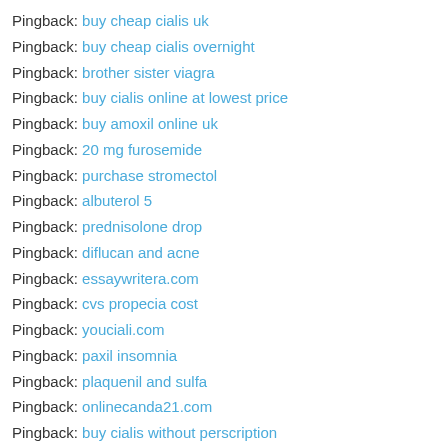Pingback: buy cheap cialis uk
Pingback: buy cheap cialis overnight
Pingback: brother sister viagra
Pingback: buy cialis online at lowest price
Pingback: buy amoxil online uk
Pingback: 20 mg furosemide
Pingback: purchase stromectol
Pingback: albuterol 5
Pingback: prednisolone drop
Pingback: diflucan and acne
Pingback: essaywritera.com
Pingback: cvs propecia cost
Pingback: youciali.com
Pingback: paxil insomnia
Pingback: plaquenil and sulfa
Pingback: onlinecanda21.com
Pingback: buy cialis without perscription
Pingback: canadianeve21.com
Pingback: buy cialis with paypal